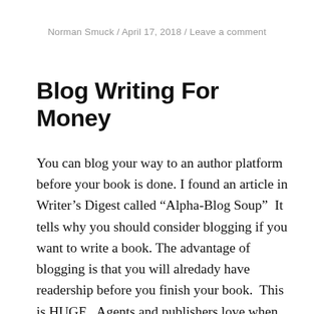Norman Smuck / April 17, 2018 / Leave a comment
Blog Writing For Money
You can blog your way to an author platform before your book is done. I found an article in Writer's Digest called “Alpha-Blog Soup”  It tells why you should consider blogging if you want to write a book. The advantage of blogging is that you will alredady have readership before you finish your book.  This is HUGE.  Agents and publishers love when you have a readership already. Blogging is for non-